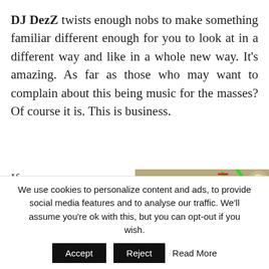DJ DezZ twists enough nobs to make something familiar different enough for you to look at in a different way and like in a whole new way. It's amazing. As far as those who may want to complain about this being music for the masses? Of course it is. This is business.
If you were putting your heart
[Figure (photo): A photo showing green and red curved lines drawn over what appears to be a car interior or dashboard area]
We use cookies to personalize content and ads, to provide social media features and to analyse our traffic. We'll assume you're ok with this, but you can opt-out if you wish.  Accept  Reject  Read More